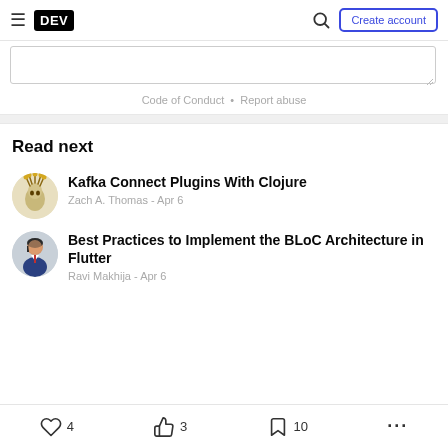DEV — Create account
(textarea input area)
Code of Conduct • Report abuse
Read next
Kafka Connect Plugins With Clojure — Zach A. Thomas - Apr 6
Best Practices to Implement the BLoC Architecture in Flutter — Ravi Makhija - Apr 6
♡ 4   🤙 3   🔖 10   ...